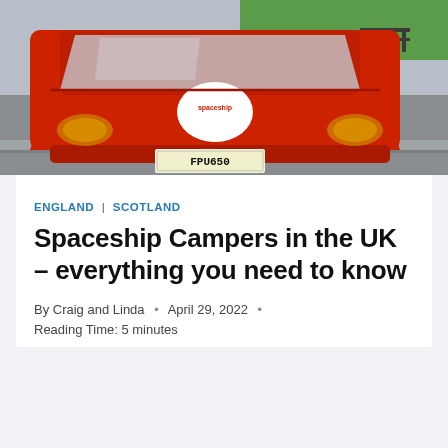[Figure (photo): Front view of a red Spaceship Campers vehicle with a white logo sticker on the hood, license plate FPU650, parked near a sidewalk with green grass and a bench in the background.]
ENGLAND | SCOTLAND
Spaceship Campers in the UK – everything you need to know
By Craig and Linda • April 29, 2022 • Reading Time: 5 minutes